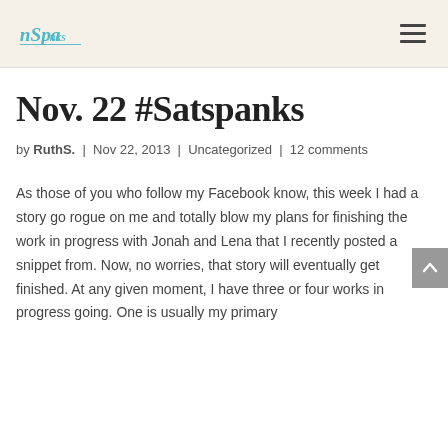[logo] [navigation menu]
Nov. 22 #Satspanks
by RuthS. | Nov 22, 2013 | Uncategorized | 12 comments
As those of you who follow my Facebook know, this week I had a story go rogue on me and totally blow my plans for finishing the work in progress with Jonah and Lena that I recently posted a snippet from. Now, no worries, that story will eventually get finished. At any given moment, I have three or four works in progress going. One is usually my primary